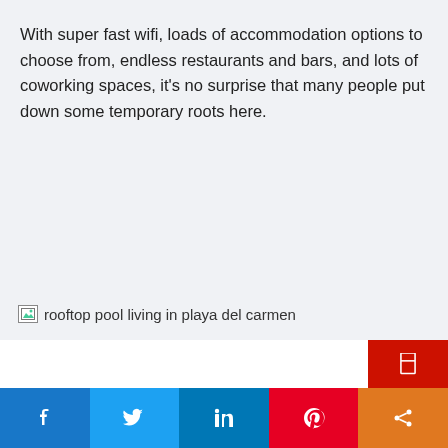With super fast wifi, loads of accommodation options to choose from, endless restaurants and bars, and lots of coworking spaces, it's no surprise that many people put down some temporary roots here.
[Figure (photo): Broken image placeholder with alt text 'rooftop pool living in playa del carmen', shown within an image slider with left and right arrow navigation buttons]
[Figure (other): Social share bar with Facebook (blue), Twitter (light blue), LinkedIn (dark blue), Pinterest (red), and share/other (orange) buttons. A red bookmark/save button is positioned above the bar on the right side.]